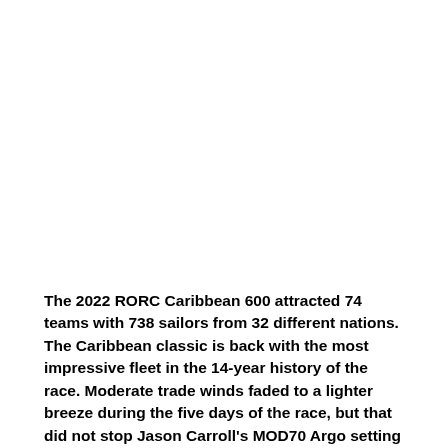The 2022 RORC Caribbean 600 attracted 74 teams with 738 sailors from 32 different nations. The Caribbean classic is back with the most impressive fleet in the 14-year history of the race. Moderate trade winds faded to a lighter breeze during the five days of the race, but that did not stop Jason Carroll's MOD70 Argo setting a new multihull race record in a thrilling finish with